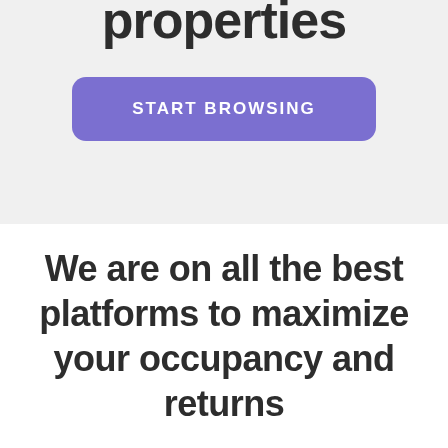properties
START BROWSING
We are on all the best platforms to maximize your occupancy and returns